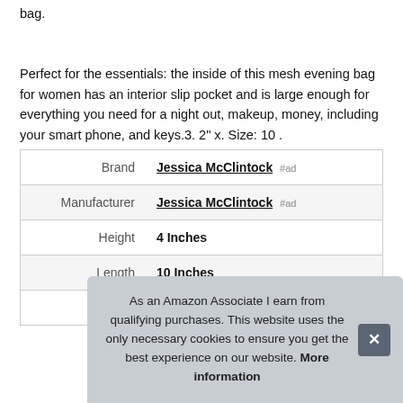bag.

Perfect for the essentials: the inside of this mesh evening bag for women has an interior slip pocket and is large enough for everything you need for a night out, makeup, money, including your smart phone, and keys.3. 2" x. Size: 10 .
| Brand | Jessica McClintock #ad |
| Manufacturer | Jessica McClintock #ad |
| Height | 4 Inches |
| Length | 10 Inches |
| P |  |
As an Amazon Associate I earn from qualifying purchases. This website uses the only necessary cookies to ensure you get the best experience on our website. More information